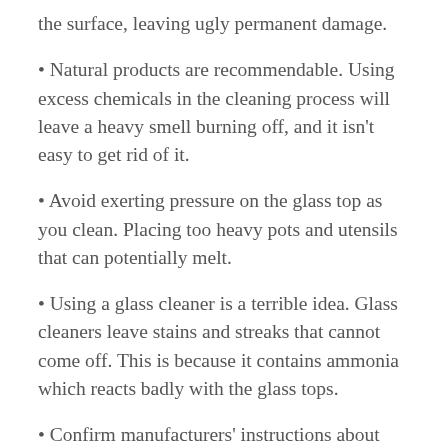the surface, leaving ugly permanent damage.
Natural products are recommendable. Using excess chemicals in the cleaning process will leave a heavy smell burning off, and it isn't easy to get rid of it.
Avoid exerting pressure on the glass top as you clean. Placing too heavy pots and utensils that can potentially melt.
Using a glass cleaner is a terrible idea. Glass cleaners leave stains and streaks that cannot come off. This is because it contains ammonia which reacts badly with the glass tops.
Confirm manufacturers' instructions about cleaning and products to ensure you do it properly. Also, following the manufactures' instructions is beneficial because you can use a warranty if it gets faulty.